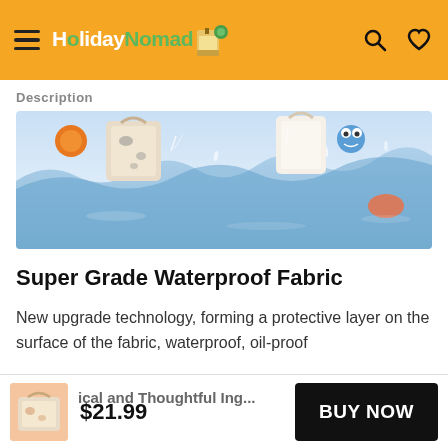HolidayNomad
Description
[Figure (photo): Products including bags and toys floating in splashing water, showing waterproof demonstration]
Super Grade Waterproof Fabric
New upgrade technology, forming a protective layer on the surface of the fabric, waterproof, oil-proof
$21.99
BUY NOW